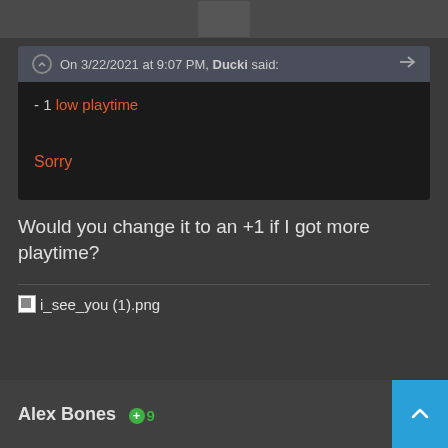[Figure (screenshot): Top avatar image strip showing partial profile picture]
On 3/22/2021 at 9:07 PM, Ducki said:
- 1 low playtime

Sorry
Would you change it to an +1 if I got more playtime?
[Figure (other): Broken image link showing i_see_you (1).png]
Alex Bones  9